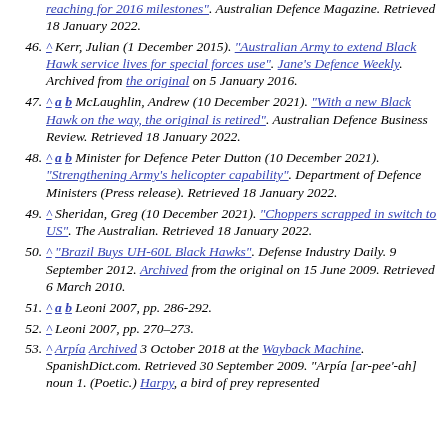reaching for 2016 milestones". Australian Defence Magazine. Retrieved 18 January 2022.
46. ^ Kerr, Julian (1 December 2015). "Australian Army to extend Black Hawk service lives for special forces use". Jane's Defence Weekly. Archived from the original on 5 January 2016.
47. ^ a b McLaughlin, Andrew (10 December 2021). "With a new Black Hawk on the way, the original is retired". Australian Defence Business Review. Retrieved 18 January 2022.
48. ^ a b Minister for Defence Peter Dutton (10 December 2021). "Strengthening Army's helicopter capability". Department of Defence Ministers (Press release). Retrieved 18 January 2022.
49. ^ Sheridan, Greg (10 December 2021). "Choppers scrapped in switch to US". The Australian. Retrieved 18 January 2022.
50. ^ "Brazil Buys UH-60L Black Hawks". Defense Industry Daily. 9 September 2012. Archived from the original on 15 June 2009. Retrieved 6 March 2010.
51. ^ a b Leoni 2007, pp. 286-292.
52. ^ Leoni 2007, pp. 270–273.
53. ^ Arpía Archived 3 October 2018 at the Wayback Machine. SpanishDict.com. Retrieved 30 September 2009. "Arpía [ar-pee'-ah] noun 1. (Poetic.) Harpy, a bird of prey represented